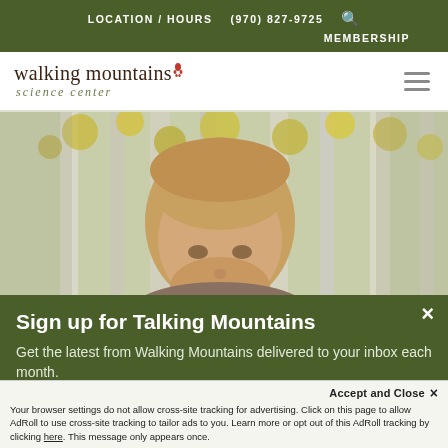LOCATION / HOURS  (970) 827-9725  MEMBERSHIP
[Figure (logo): Walking Mountains Science Center logo with red footprint icon and text]
[Figure (photo): Person with blonde hair smiling in front of aspen trees with yellow leaves]
Sign up for Talking Mountains
Get the latest from Walking Mountains delivered to your inbox each month.
Your browser settings do not allow cross-site tracking for advertising. Click on this page to allow AdRoll to use cross-site tracking to tailor ads to you. Learn more or opt out of this AdRoll tracking by clicking here. This message only appears once.